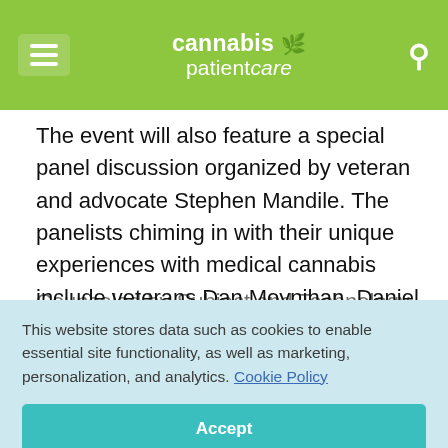cannabis patientcare
The event will also feature a special panel discussion organized by veteran and advocate Stephen Mandile. The panelists chiming in with their unique experiences with medical cannabis include veterans Dan Moynihan, Daniel Vela, and Hether Zeckser.
This website stores data such as cookies to enable essential site functionality, as well as marketing, personalization, and analytics. Cookie Policy
Accept
Deny